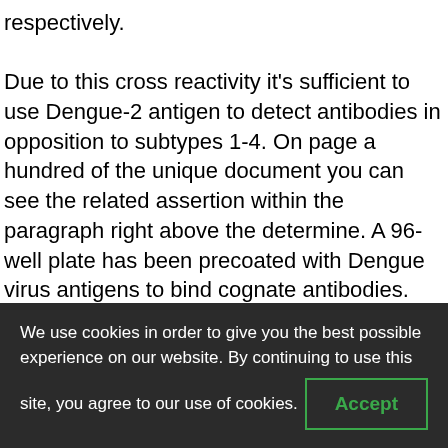respectively. Due to this cross reactivity it's sufficient to use Dengue-2 antigen to detect antibodies in opposition to subtypes 1-4. On page a hundred of the unique document you can see the related assertion within the paragraph right above the determine. A 96-well plate has been precoated with Dengue virus antigens to bind cognate antibodies. Following washing, a horseradish peroxidase labelled anti-Human IgG conjugate is added to the wells, which binds to the immobilized Dengue virus-specific antibodies. TMB is then catalyzed by the HRP to produce a blue shade product that modifications to yellow after including an acidic cease solution.
We use cookies in order to give you the best possible experience on our website. By continuing to use this site, you agree to our use of cookies.